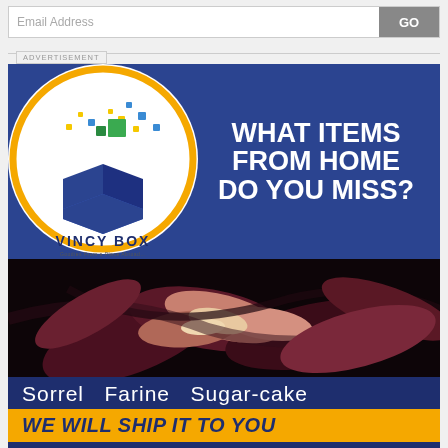Email Address
[Figure (infographic): Vincy Box advertisement showing a blue box logo with colorful dots, text 'WHAT ITEMS FROM HOME DO YOU MISS?', a photo of sorrel/dried flowers, items listed: Sorrel, Farine, Sugar-cake, banner 'WE WILL SHIP IT TO YOU', and website www.vincybox.com]
ADVERTISEMENT